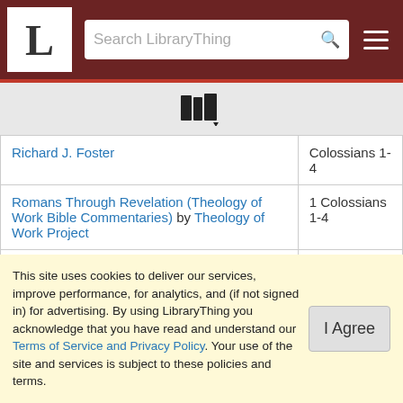LibraryThing — Search LibraryThing
[Figure (other): LibraryThing books icon with dropdown arrow]
| Book / Author | Count / Subject |
| --- | --- |
| Richard J. Foster | Colossians 1-4 |
| Romans Through Revelation (Theology of Work Bible Commentaries) by Theology of Work Project | 1 Colossians 1-4 |
| Serendipity Bible for Groups : New International Version by Lyman Coleman | 1 Colossians 1-4 |
| Thompson Chain-Reference Bible KJV by... | 1 |
This site uses cookies to deliver our services, improve performance, for analytics, and (if not signed in) for advertising. By using LibraryThing you acknowledge that you have read and understand our Terms of Service and Privacy Policy. Your use of the site and services is subject to these policies and terms.